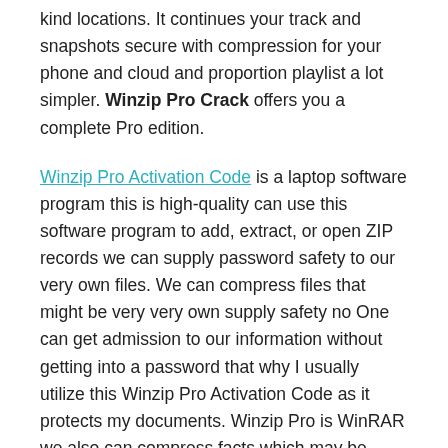kind locations. It continues your track and snapshots secure with compression for your phone and cloud and proportion playlist a lot simpler. Winzip Pro Crack offers you a complete Pro edition.
Winzip Pro Activation Code is a laptop software program this is high-quality can use this software program to add, extract, or open ZIP records we can supply password safety to our very own files. We can compress files that might be very very own supply safety no One can get admission to our information without getting into a password that why I usually utilize this Winzip Pro Activation Code as it protects my documents. Winzip Pro is WinRAR we also can compress facts which may be personal